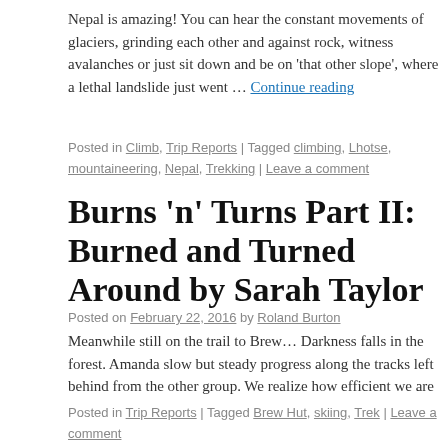Nepal is amazing! You can hear the constant movements of glaciers, grinding against each other and against rock, witness avalanches or just sit down and be on 'that other slope', where a lethal landslide just went … Continue reading
Posted in Climb, Trip Reports | Tagged climbing, Lhotse, mountaineering, Nepal, Trekking | Leave a comment
Burns 'n' Turns Part II: Burned and Turned Around by Sarah Taylor
Posted on February 22, 2016 by Roland Burton
Meanwhile still on the trail to Brew… Darkness falls in the forest. Amanda slow but steady progress along the tracks left behind from the other group. We realize how efficient we are moving along the trail … Continue reading
Posted in Trip Reports | Tagged Brew Hut, skiing, Trek | Leave a comment
Burns 'n' Turns 2016 Part I: Total Eclipse of the Hut By Bill Shmygol
Posted on February 22, 2016 by Roland Burton
Friday, 7:30 pm. I was solemnly resigned to the fact that I would not be